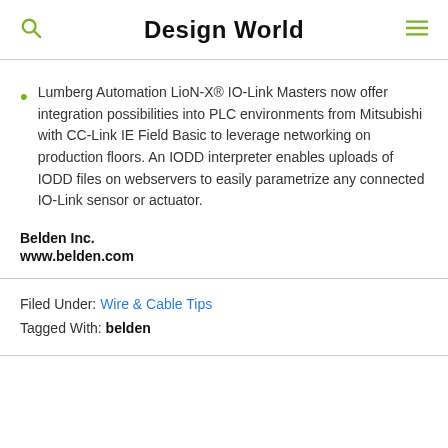Design World
Lumberg Automation LioN-X® IO-Link Masters now offer integration possibilities into PLC environments from Mitsubishi with CC-Link IE Field Basic to leverage networking on production floors. An IODD interpreter enables uploads of IODD files on webservers to easily parametrize any connected IO-Link sensor or actuator.
Belden Inc.
www.belden.com
Filed Under: Wire & Cable Tips
Tagged With: belden